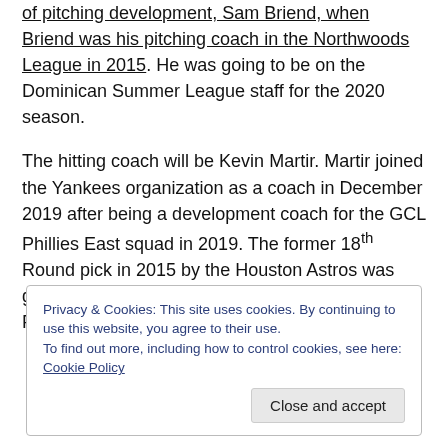of pitching development, Sam Briend, when Briend was his pitching coach in the Northwoods League in 2015. He was going to be on the Dominican Summer League staff for the 2020 season.
The hitting coach will be Kevin Martir. Martir joined the Yankees organization as a coach in December 2019 after being a development coach for the GCL Phillies East squad in 2019. The former 18th Round pick in 2015 by the Houston Astros was going to be the hitting coach at Rookie-Level Pulaski before the shutdown.
Privacy & Cookies: This site uses cookies. By continuing to use this website, you agree to their use. To find out more, including how to control cookies, see here: Cookie Policy